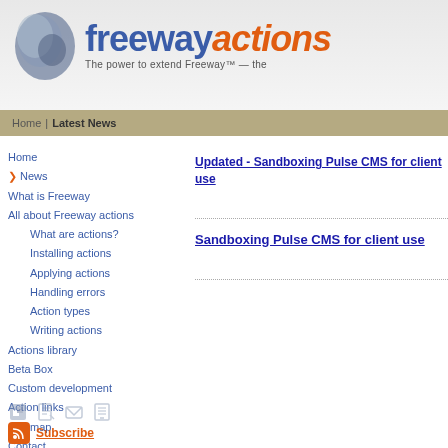[Figure (logo): Freeway Actions logo with stylized 3D icon, 'freeway' in blue bold text and 'actions' in orange italic, tagline: The power to extend Freeway™ — the]
Home | Latest News
Home
News
What is Freeway
All about Freeway actions
What are actions?
Installing actions
Applying actions
Handling errors
Action types
Writing actions
Actions library
Beta Box
Custom development
Action links
Site map
Contact
Updated - Sandboxing Pulse CMS for client use
Sandboxing Pulse CMS for client use
Subscribe